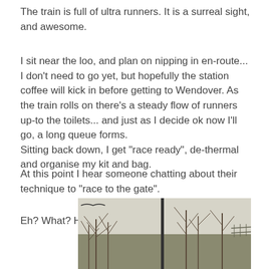The train is full of ultra runners. It is a surreal sight, and awesome.
I sit near the loo, and plan on nipping in en-route... I don't need to go yet, but hopefully the station coffee will kick in before getting to Wendover. As the train rolls on there's a steady flow of runners up-to the toilets... and just as I decide ok now I'll go, a long queue forms.
Sitting back down, I get "race ready", de-thermal and organise my kit and bag.
At this point I hear someone chatting about their technique to "race to the gate".
Eh? What? Hmm.
[Figure (photo): Photograph taken from a train window showing bare winter trees and a fence line against a pale sky, countryside scene near Wendover.]